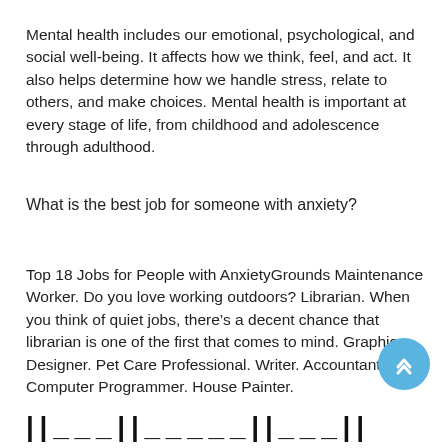Mental health includes our emotional, psychological, and social well-being. It affects how we think, feel, and act. It also helps determine how we handle stress, relate to others, and make choices. Mental health is important at every stage of life, from childhood and adolescence through adulthood.
What is the best job for someone with anxiety?
Top 18 Jobs for People with AnxietyGrounds Maintenance Worker. Do you love working outdoors? Librarian. When you think of quiet jobs, there’s a decent chance that librarian is one of the first that comes to mind. Graphic Designer. Pet Care Professional. Writer. Accountant. Computer Programmer. House Painter.